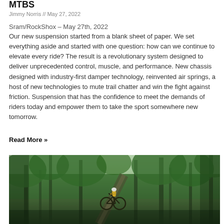MTBS
Jimmy Norris // May 27, 2022
Sram/RockShox – May 27th, 2022
Our new suspension started from a blank sheet of paper. We set everything aside and started with one question: how can we continue to elevate every ride? The result is a revolutionary system designed to deliver unprecedented control, muscle, and performance. New chassis designed with industry-first damper technology, reinvented air springs, a host of new technologies to mute trail chatter and win the fight against friction. Suspension that has the confidence to meet the demands of riders today and empower them to take the sport somewhere new tomorrow.
Read More »
[Figure (photo): A mountain biker in a yellow jersey riding through a lush green forest trail]